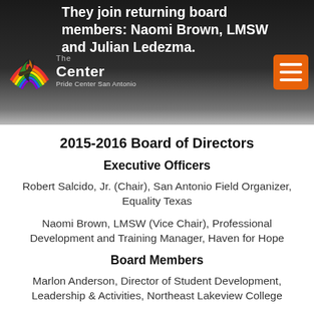They join returning board members: Naomi Brown, LMSW and Julian Ledezma.
[Figure (logo): The Center - Pride Center San Antonio logo with rainbow bird graphic]
2015-2016 Board of Directors
Executive Officers
Robert Salcido, Jr. (Chair), San Antonio Field Organizer, Equality Texas
Naomi Brown, LMSW (Vice Chair), Professional Development and Training Manager, Haven for Hope
Board Members
Marlon Anderson, Director of Student Development, Leadership & Activities, Northeast Lakeview College